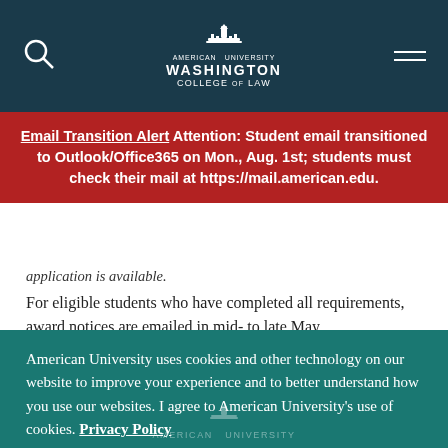American University Washington College of Law
Email Transition Alert Attention: Student email transitioned to Outlook/Office365 on Mon., Aug. 1st; students must check their mail at https://mail.american.edu.
application is available.
For eligible students who have completed all requirements, award notices are emailed in mid- to late May.
The summer 2022 application is closed.
American University uses cookies and other technology on our website to improve your experience and to better understand how you use our websites. I agree to American University's use of cookies. Privacy Policy
AGREE